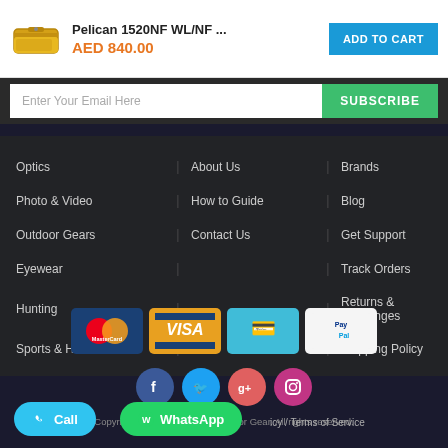Pelican 1520NF WL/NF ... AED 840.00
Enter Your Email Here
Optics
Photo & Video
Outdoor Gears
Eyewear
Hunting
Sports & Hobbies
About Us
How to Guide
Contact Us
Brands
Blog
Get Support
Track Orders
Returns & Exchanges
Shipping Policy
[Figure (logo): Payment method icons: MasterCard, VISA, cash/hand icon, PayPal]
[Figure (logo): Social media icons: Facebook, Twitter, Google+, Instagram]
Copyright © 2022 TOG The Outdoor Gear. All rights reserved.
Privacy Policy / Terms of Service